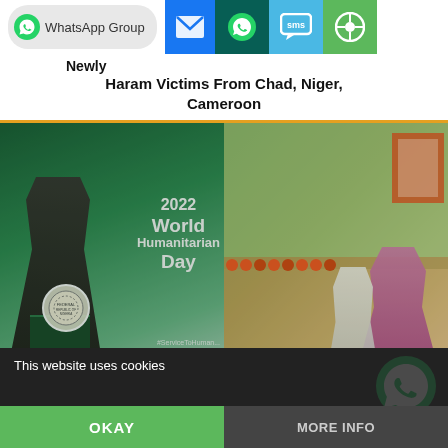WhatsApp Group | share icons (email, WhatsApp, SMS, share)
Newly
Haram Victims From Chad, Niger, Cameroon
[Figure (photo): Two photos: left shows a man speaking at a podium at the 2022 World Humanitarian Day event with a Nigerian seal visible; right shows people at a humanitarian aid distribution event with sacks and goods.]
[Figure (photo): Thumbnail card: Alleged Blasphemy: Atiku Abubakar Who Refuse To Condemn...]
Alleged Blasphemy: Atiku Abubakar Who Refuse To Condemn...
[Figure (photo): Thumbnail card: Youths Threaten To Stop Media Coverage In The North, Deadline...]
Youths Threaten To Stop Media Coverage In The North, Deadline...
Return Displaced Boko Haram Victims From Chad, Niger, Cameroon
This website uses cookies
OKAY
MORE INFO